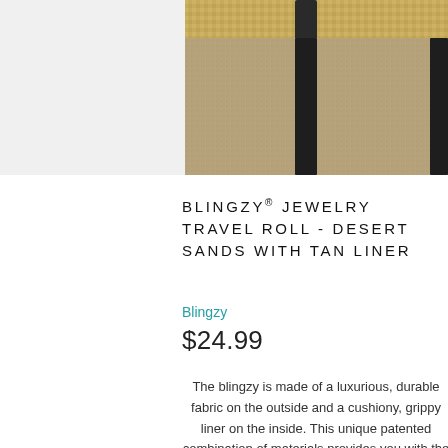[Figure (photo): Close-up photo of a burlap/woven fabric jewelry travel roll bag with dark leather or fabric handles visible at the top, showing the textured tan/beige exterior material.]
BLINGZY® JEWELRY TRAVEL ROLL - DESERT SANDS WITH TAN LINER
Blingzy
$24.99
The blingzy is made of a luxurious, durable fabric on the outside and a cushiony, grippy liner on the inside. This unique patented combination of materials provides you with the magic of the blingzy's functionality. The